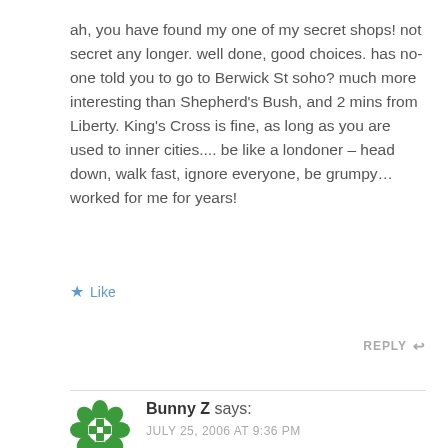ah, you have found my one of my secret shops! not secret any longer. well done, good choices. has no-one told you to go to Berwick St soho? much more interesting than Shepherd's Bush, and 2 mins from Liberty. King's Cross is fine, as long as you are used to inner cities.... be like a londoner – head down, walk fast, ignore everyone, be grumpy… worked for me for years!
★ Like
REPLY ↩
[Figure (logo): Green circular avatar icon with a decorative cross/flower pattern]
Bunny Z says:
JULY 25, 2006 AT 9:36 PM